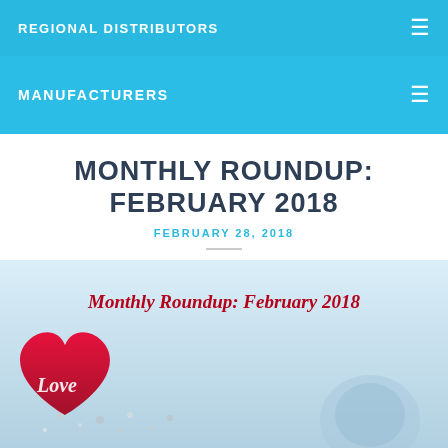REGIONAL DISTRIBUTORS
MANUFACTURERS
MONTHLY ROUNDUP: FEBRUARY 2018
FEBRUARY 28, 2018
[Figure (photo): Monthly Roundup February 2018 image with red heart pillow and cursive 'Love' text on a wintry background, with script text overlay reading 'Monthly Roundup: February 2018']